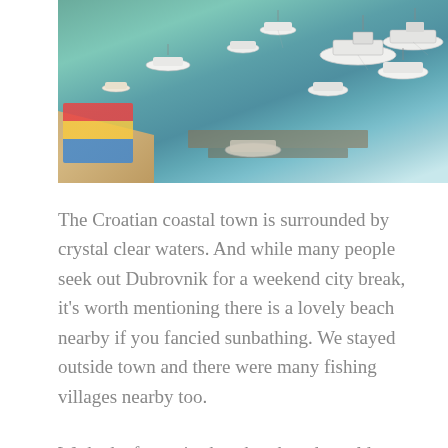[Figure (photo): Aerial view of a Croatian coastal harbour with crystal clear turquoise water, numerous white boats moored in the bay, a sandy beach on the left with colourful beach stalls and umbrellas, and a dock area.]
The Croatian coastal town is surrounded by crystal clear waters. And while many people seek out Dubrovnik for a weekend city break, it's worth mentioning there is a lovely beach nearby if you fancied sunbathing. We stayed outside town and there were many fishing villages nearby too.
We had a fantastic short break and would recommend Dubrovnik in a heartbeat. Have you been to Dubrovnik before, what was your favourite part?